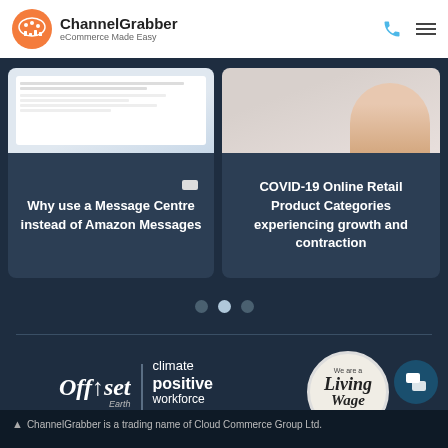ChannelGrabber eCommerce Made Easy
[Figure (screenshot): Partial view of a UI screenshot - message centre interface]
Why use a Message Centre instead of Amazon Messages
[Figure (photo): Partial photo showing a person's hand]
COVID-19 Online Retail Product Categories experiencing growth and contraction
[Figure (other): Carousel navigation dots - three dots with middle one active]
[Figure (logo): Offset Earth climate positive workforce 1.5k trees logo]
[Figure (logo): We are a Living Wage Employer badge]
ChannelGrabber is a trading name of Cloud Commerce Group Ltd.